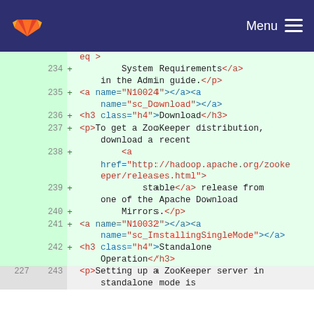GitLab header with logo and Menu button
[Figure (screenshot): GitLab diff view showing added lines 234-242 and unchanged lines 227/243 of an XML/HTML document diff. Lines show HTML anchors, h3 headings, and p tags related to ZooKeeper installation documentation.]
eq >
234 + System Requirements</a> in the Admin guide.</p>
235 + <a name="N10024"></a><a name="sc_Download"></a>
236 + <h3 class="h4">Download</h3>
237 + <p>To get a ZooKeeper distribution, download a recent
238 + <a href="http://hadoop.apache.org/zookeeper/releases.html">
239 + stable</a> release from one of the Apache Download
240 + Mirrors.</p>
241 + <a name="N10032"></a><a name="sc_InstallingSingleMode"></a>
242 + <h3 class="h4">Standalone Operation</h3>
227 243 <p>Setting up a ZooKeeper server in standalone mode is